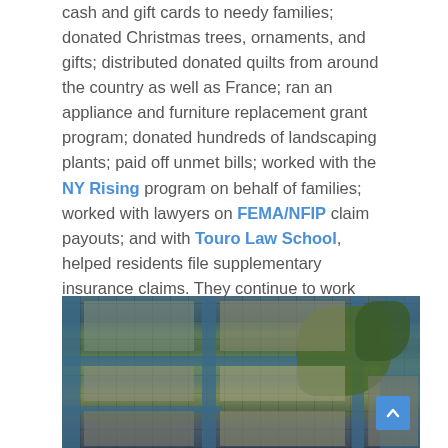cash and gift cards to needy families; donated Christmas trees, ornaments, and gifts; distributed donated quilts from around the country as well as France; ran an appliance and furniture replacement grant program; donated hundreds of landscaping plants; paid off unmet bills; worked with the NY Rising program on behalf of families; worked with lawyers on FEMA/NFIP claim payouts; and with Touro Law School, helped residents file supplementary insurance claims. They continue to work with elected officials on policies affecting disaster victims and NFIP.
[Figure (photo): Aerial photograph of a coastal neighborhood showing residential blocks arranged in a grid pattern with water channels running between them, and a green vegetated area in the upper right portion of the image.]